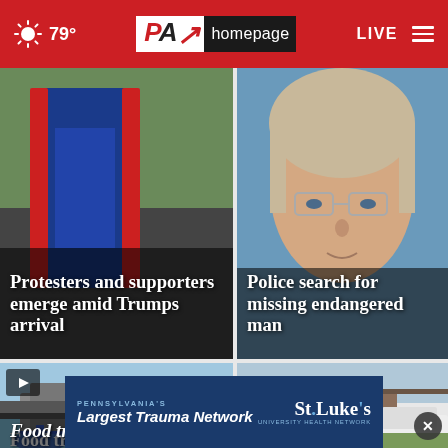79° PA homepage LIVE
[Figure (photo): Person wearing red and blue sports jacket, protesters and supporters scene]
Protesters and supporters emerge amid Trumps arrival
[Figure (photo): Older person with gray hair and glasses, missing endangered man]
Police search for missing endangered man
[Figure (photo): Food truck video thumbnail with play button]
Food truck
[Figure (photo): Brick building with police cars outside]
[Figure (screenshot): St. Luke's Pennsylvania's Largest Trauma Network advertisement banner]